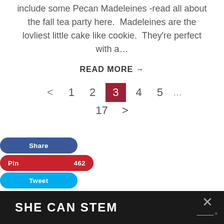include some Pecan Madeleines -read all about the fall tea party here.  Madeleines are the lovliest little cake like cookie.  They're perfect with a…
READ MORE →
< 1 2 3 4 5 … 17 >
Share   Pin 462   Tweet
SHE CAN STEM ×